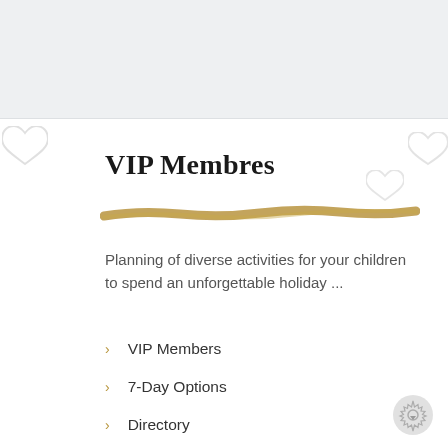VIP Membres
Planning of diverse activities for your children to spend an unforgettable holiday ...
VIP Members
7-Day Options
Directory